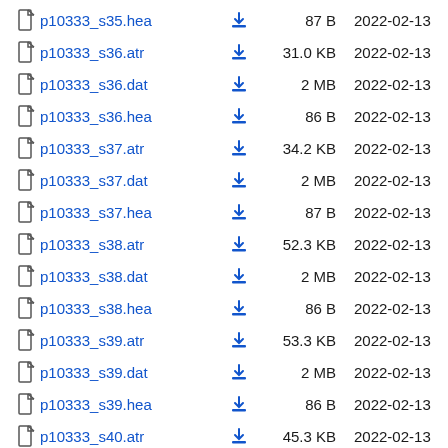| Name |  | Size | Date |
| --- | --- | --- | --- |
| p10333_s35.hea | ⬇ | 87 B | 2022-02-13 |
| p10333_s36.atr | ⬇ | 31.0 KB | 2022-02-13 |
| p10333_s36.dat | ⬇ | 2 MB | 2022-02-13 |
| p10333_s36.hea | ⬇ | 86 B | 2022-02-13 |
| p10333_s37.atr | ⬇ | 34.2 KB | 2022-02-13 |
| p10333_s37.dat | ⬇ | 2 MB | 2022-02-13 |
| p10333_s37.hea | ⬇ | 87 B | 2022-02-13 |
| p10333_s38.atr | ⬇ | 52.3 KB | 2022-02-13 |
| p10333_s38.dat | ⬇ | 2 MB | 2022-02-13 |
| p10333_s38.hea | ⬇ | 86 B | 2022-02-13 |
| p10333_s39.atr | ⬇ | 53.3 KB | 2022-02-13 |
| p10333_s39.dat | ⬇ | 2 MB | 2022-02-13 |
| p10333_s39.hea | ⬇ | 86 B | 2022-02-13 |
| p10333_s40.atr | ⬇ | 45.3 KB | 2022-02-13 |